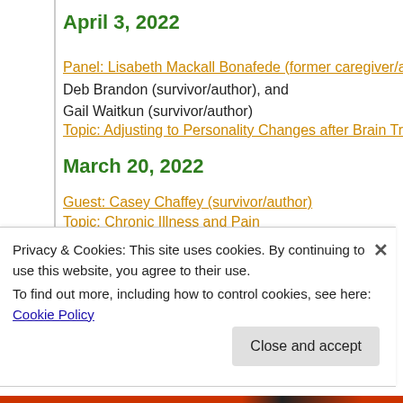April 3, 2022
Panel: Lisabeth Mackall Bonafede (former caregiver/auth…
Deb Brandon (survivor/author), and
Gail Waitkun (survivor/author)
Topic: Adjusting to Personality Changes after Brain Trau…
March 20, 2022
Guest: Casey Chaffey (survivor/author)
Topic: Chronic Illness and Pain
March 6, 2022
Privacy & Cookies: This site uses cookies. By continuing to use this website, you agree to their use.
To find out more, including how to control cookies, see here: Cookie Policy